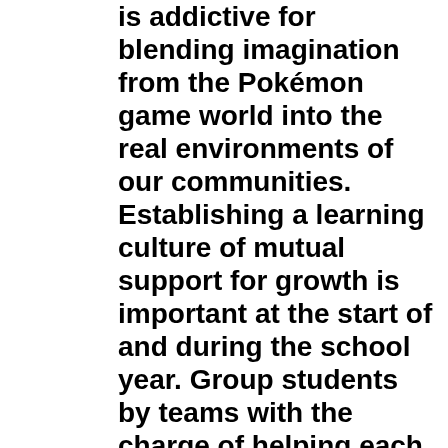is addictive for blending imagination from the Pokémon game world into the real environments of our communities. Establishing a learning culture of mutual support for growth is important at the start of and during the school year. Group students by teams with the charge of helping each other collect the same Pokémon into their respective Pokédex. Use the Pokémon Go